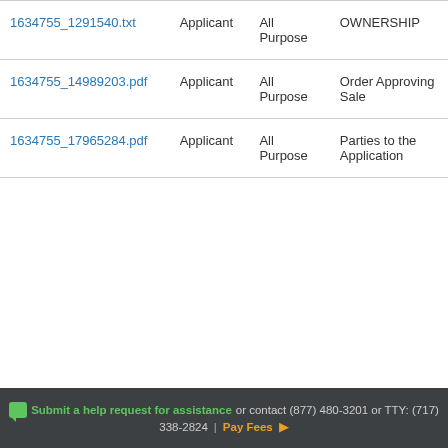| File | Who | Purpose | Type |
| --- | --- | --- | --- |
| 1634755_1291540.txt | Applicant | All Purpose | OWNERSHIP |
| 1634755_14989203.pdf | Applicant | All Purpose | Order Approving Sale |
| 1634755_17965284.pdf | Applicant | All Purpose | Parties to the Application |
Submit a help request for assistance or contact (877) 480-3201 or TTY: (717) 338-2824 | Pay Fees